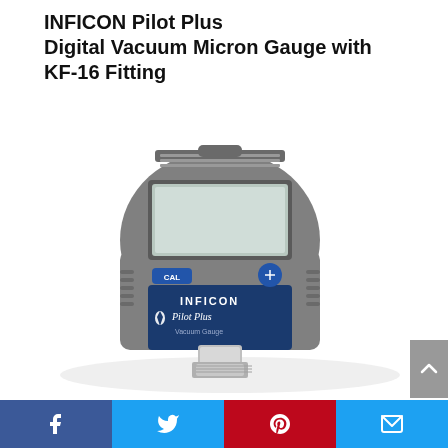INFICON Pilot Plus Digital Vacuum Micron Gauge with KF-16 Fitting
[Figure (photo): Photo of INFICON Pilot Plus Digital Vacuum Micron Gauge with KF-16 Fitting — a handheld gray electronic vacuum gauge device with a digital LCD display, blue control buttons labeled CAL and a round button, and a metal KF-16 fitting at the bottom. The device has the INFICON Pilot Plus Vacuum Gauge branding label in blue.]
Social sharing bar with Facebook, Twitter, Pinterest, and Email buttons